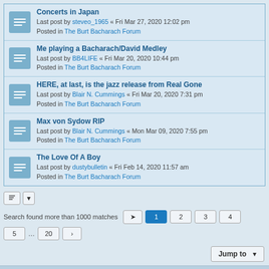Concerts in Japan — Last post by steveo_1965 « Fri Mar 27, 2020 12:02 pm — Posted in The Burt Bacharach Forum
Me playing a Bacharach/David Medley — Last post by BB4LIFE « Fri Mar 20, 2020 10:44 pm — Posted in The Burt Bacharach Forum
HERE, at last, is the jazz release from Real Gone — Last post by Blair N. Cummings « Fri Mar 20, 2020 7:31 pm — Posted in The Burt Bacharach Forum
Max von Sydow RIP — Last post by Blair N. Cummings « Mon Mar 09, 2020 7:55 pm — Posted in The Burt Bacharach Forum
The Love Of A Boy — Last post by dustybulletin « Fri Feb 14, 2020 11:57 am — Posted in The Burt Bacharach Forum
Search found more than 1000 matches
Home · Board index — All times are UTC-05:00
Powered by phpBB® Forum Software © phpBB Limited